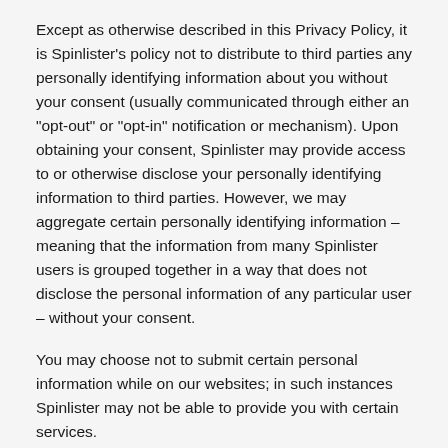Except as otherwise described in this Privacy Policy, it is Spinlister's policy not to distribute to third parties any personally identifying information about you without your consent (usually communicated through either an "opt-out" or "opt-in" notification or mechanism). Upon obtaining your consent, Spinlister may provide access to or otherwise disclose your personally identifying information to third parties. However, we may aggregate certain personally identifying information – meaning that the information from many Spinlister users is grouped together in a way that does not disclose the personal information of any particular user – without your consent.
You may choose not to submit certain personal information while on our websites; in such instances Spinlister may not be able to provide you with certain services.
If you are using our services to register for a rental or